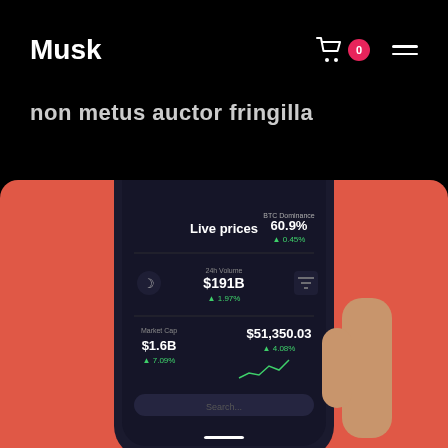Musk
non metus auctor fringilla
[Figure (screenshot): Hand holding a dark smartphone displaying a crypto live prices app screen on a coral/red-orange background. The phone shows 'Live prices', 'BTC Dominance 60.9% ▲ 0.45%', '24h Volume $191B ▲ 1.97%', 'Market Cap $1.6B ▲ 7.09%', '$51,350.03 ▲ 4.08%']